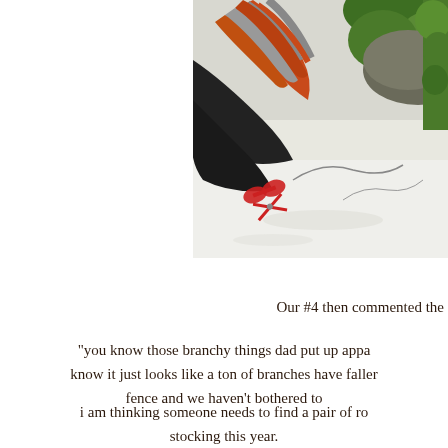[Figure (photo): Person in orange and grey striped sleeves kneeling in snow near green moss-covered rocks, with red scissors visible on the snowy ground]
Our #4 then commented the
"you know those branchy things dad put up appa know it just looks like a ton of branches have faller fence and we haven't bothered to
i am thinking someone needs to find a pair of ro stocking this year.